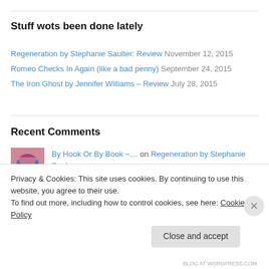Stuff wots been done lately
Regeneration by Stephanie Saulter: Review November 12, 2015
Romeo Checks In Again (like a bad penny) September 24, 2015
The Iron Ghost by Jennifer Williams – Review July 28, 2015
Recent Comments
By Hook Or By Book ~… on Regeneration by Stephanie Saul…
Heena Rathore P. on Romeo Checks In Again (like a
Privacy & Cookies: This site uses cookies. By continuing to use this website, you agree to their use. To find out more, including how to control cookies, see here: Cookie Policy
Close and accept